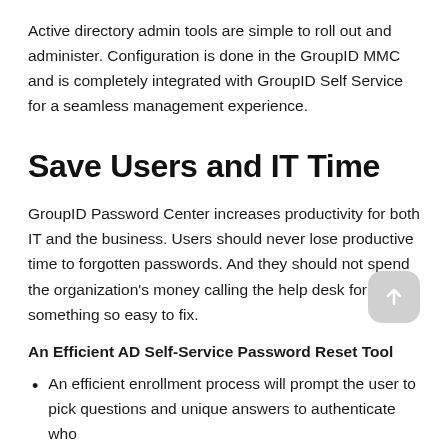Active directory admin tools are simple to roll out and administer. Configuration is done in the GroupID MMC and is completely integrated with GroupID Self Service for a seamless management experience.
Save Users and IT Time
GroupID Password Center increases productivity for both IT and the business. Users should never lose productive time to forgotten passwords. And they should not spend the organization's money calling the help desk for something so easy to fix.
An Efficient AD Self-Service Password Reset Tool
An efficient enrollment process will prompt the user to pick questions and unique answers to authenticate who